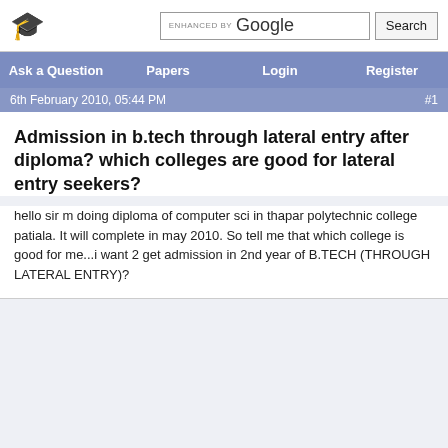ENHANCED BY Google Search
Ask a Question | Papers | Login | Register
6th February 2010, 05:44 PM #1
Admission in b.tech through lateral entry after diploma? which colleges are good for lateral entry seekers?
hello sir m doing diploma of computer sci in thapar polytechnic college patiala. It will complete in may 2010. So tell me that which college is good for me...i want 2 get admission in 2nd year of B.TECH (THROUGH LATERAL ENTRY)?